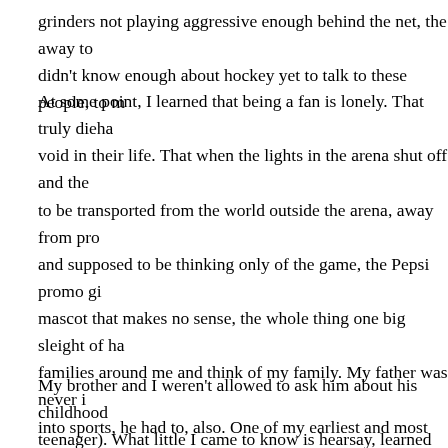grinders not playing aggressive enough behind the net, the away to didn't know enough about hockey yet to talk to these people, to m
At some point, I learned that being a fan is lonely. That truly dieha void in their life. That when the lights in the arena shut off and the to be transported from the world outside the arena, away from pro and supposed to be thinking only of the game, the Pepsi promo gi mascot that makes no sense, the whole thing one big sleight of ha families around me and think of my family. My father was never i into sports, he had to, also. One of my earliest and most pleasant r Virginia Tech vs. Miami football game. I was eight. It was the firs remember my father haggling with a scalper outside the stadium. field, but I don't remember if we had any fun or if he let me get so a memory like a lot of memories I have of my father: blurry and o
My brother and I weren't allowed to ask him about his childhood teenager). What little I came to know is hearsay, learned from my closer to him every time I stepped inside that Ohio dive bar and ha